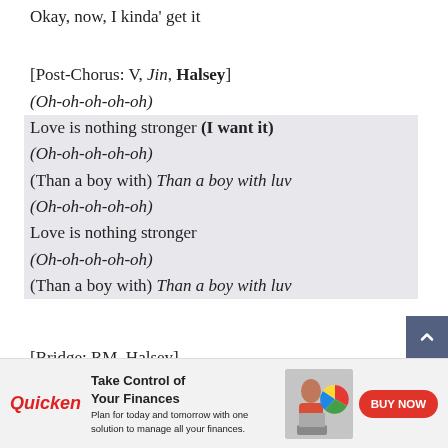Okay, now, I kinda' get it
[Post-Chorus: V, Jin, Halsey]
(Oh-oh-oh-oh-oh)
Love is nothing stronger (I want it)
(Oh-oh-oh-oh-oh)
(Than a boy with) Than a boy with luv
(Oh-oh-oh-oh-oh)
Love is nothing stronger
(Oh-oh-oh-oh-oh)
(Than a boy with) Than a boy with luv
[Bridge: RM, Halsey]
I'll tell you frankly
[Figure (infographic): Quicken advertisement banner: Take Control of Your Finances. Plan for today and tomorrow with one solution to manage all your finances. BUY NOW button. Image of woman at laptop with pie chart graphic.]